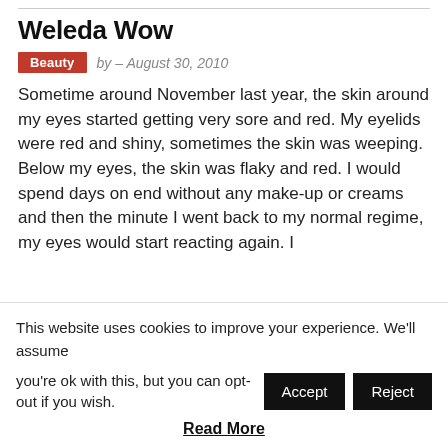Weleda Wow
Beauty  by - August 30, 2010
Sometime around November last year, the skin around my eyes started getting very sore and red. My eyelids were red and shiny, sometimes the skin was weeping. Below my eyes, the skin was flaky and red. I would spend days on end without any make-up or creams and then the minute I went back to my normal regime, my eyes would start reacting again. I
This website uses cookies to improve your experience. We'll assume you're ok with this, but you can opt-out if you wish.
Read More